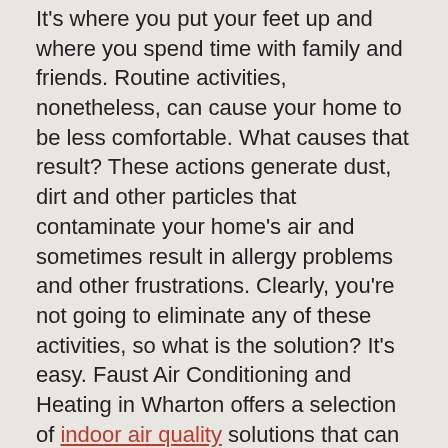It's where you put your feet up and where you spend time with family and friends. Routine activities, nonetheless, can cause your home to be less comfortable. What causes that result? These actions generate dust, dirt and other particles that contaminate your home's air and sometimes result in allergy problems and other frustrations. Clearly, you're not going to eliminate any of these activities, so what is the solution? It's easy. Faust Air Conditioning and Heating in Wharton offers a selection of indoor air quality solutions that can help clear your air and keep the members of your family comfortable and in good health.
We have what you need to address your personal indoor air quality issues. Our air quality experts at Faust Air Conditioning and Heating are eager to help you find the ideal solution for your needs. We